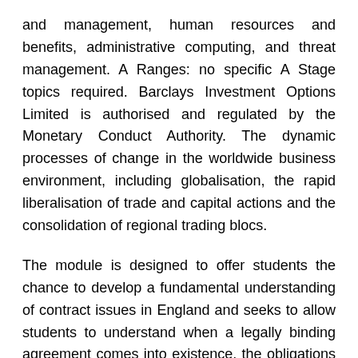and management, human resources and benefits, administrative computing, and threat management. A Ranges: no specific A Stage topics required. Barclays Investment Options Limited is authorised and regulated by the Monetary Conduct Authority. The dynamic processes of change in the worldwide business environment, including globalisation, the rapid liberalisation of trade and capital actions and the consolidation of regional trading blocs.
The module is designed to offer students the chance to develop a fundamental understanding of contract issues in England and seeks to allow students to understand when a legally binding agreement comes into existence, the obligations involved and the consequences of breaking such agreements.